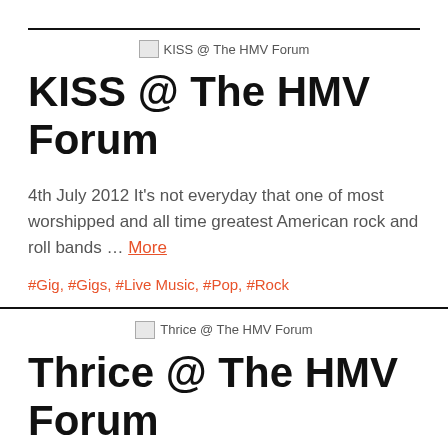[Figure (other): Broken image placeholder for KISS @ The HMV Forum]
KISS @ The HMV Forum
4th July 2012 It's not everyday that one of most worshipped and all time greatest American rock and roll bands … More
#Gig, #Gigs, #Live Music, #Pop, #Rock
[Figure (other): Broken image placeholder for Thrice @ The HMV Forum]
Thrice @ The HMV Forum